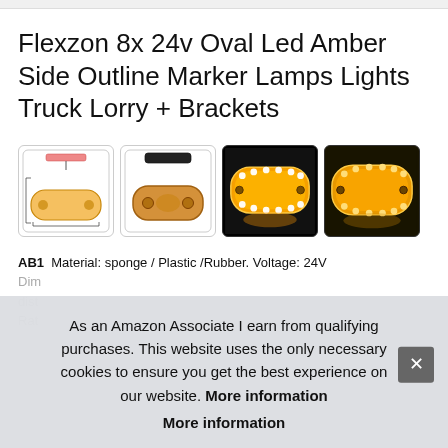Flexzon 8x 24v Oval Led Amber Side Outline Marker Lamps Lights Truck Lorry + Brackets
[Figure (photo): Four product images of oval amber LED marker lights with brackets, showing technical diagram, mounted lamp, and lit lamp views]
AB1 Material: sponge / Plastic /Rubber. Voltage: 24V Dim... dist... Rate...
As an Amazon Associate I earn from qualifying purchases. This website uses the only necessary cookies to ensure you get the best experience on our website. More information
More information